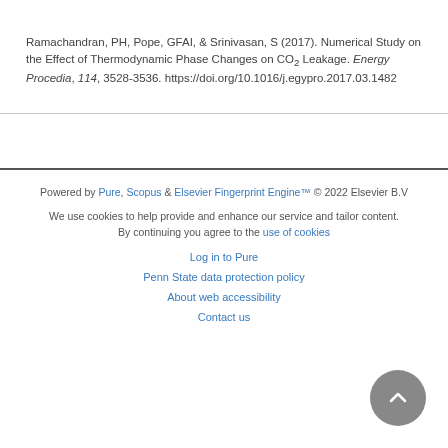Ramachandran, PH, Pope, GFAI, & Srinivasan, S (2017). Numerical Study on the Effect of Thermodynamic Phase Changes on CO2 Leakage. Energy Procedia, 114, 3528-3536. https://doi.org/10.1016/j.egypro.2017.03.1482
Powered by Pure, Scopus & Elsevier Fingerprint Engine™ © 2022 Elsevier B.V
We use cookies to help provide and enhance our service and tailor content. By continuing you agree to the use of cookies
Log in to Pure
Penn State data protection policy
About web accessibility
Contact us